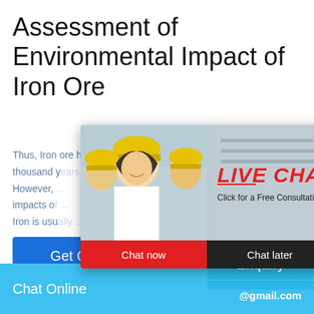Assessment of Environmental Impact of Iron Ore
Thus, Iron ore has been mined for the past three thousand y... However, ... impacts o... Iron is usu...
[Figure (screenshot): Live chat popup overlay with workers in hard hats, LIVE CHAT heading in red, 'Click for a Free Consultation' subtitle, Chat now and Chat later buttons]
[Figure (infographic): Right sidebar satisfaction gauge widget on cyan background with emoji faces, 'best state for you!' text, 'Click me to chat >>' button, and 'Enquiry' text]
[Figure (photo): Industrial/factory scene at bottom of page]
Get Quote
Chat Online    cywaitml @gmail.com